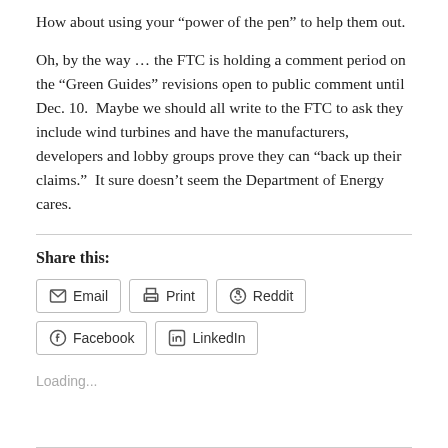How about using your “power of the pen” to help them out.
Oh, by the way … the FTC is holding a comment period on the “Green Guides” revisions open to public comment until Dec. 10.  Maybe we should all write to the FTC to ask they include wind turbines and have the manufacturers, developers and lobby groups prove they can “back up their claims.”  It sure doesn’t seem the Department of Energy cares.
Share this:
Loading...